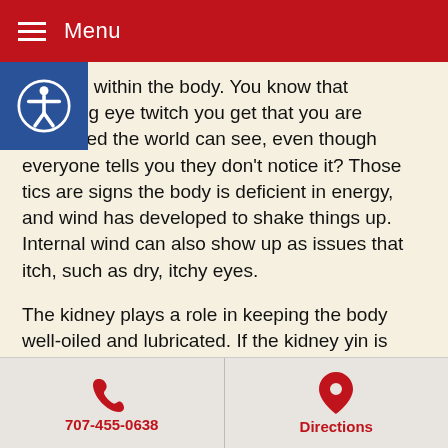Menu
to place within the body. You know that annoying eye twitch you get that you are convinced the world can see, even though everyone tells you they don't notice it? Those tics are signs the body is deficient in energy, and wind has developed to shake things up. Internal wind can also show up as issues that itch, such as dry, itchy eyes.
The kidney plays a role in keeping the body well-oiled and lubricated. If the kidney yin is lacking, you might experience dry, creaky joints, dry skin and eyes.
[Figure (other): Social share icons: Facebook, Twitter, Pinterest, and a plus/share button]
This article was posted in Traditional Chinese Medicine and tagged
707-455-0638  Directions